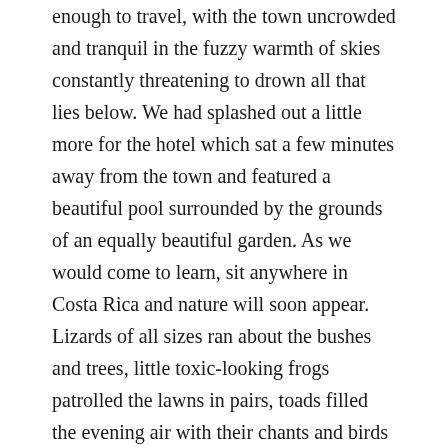enough to travel, with the town uncrowded and tranquil in the fuzzy warmth of skies constantly threatening to drown all that lies below. We had splashed out a little more for the hotel which sat a few minutes away from the town and featured a beautiful pool surrounded by the grounds of an equally beautiful garden. As we would come to learn, sit anywhere in Costa Rica and nature will soon appear. Lizards of all sizes ran about the bushes and trees, little toxic-looking frogs patrolled the lawns in pairs, toads filled the evening air with their chants and birds of various bright colours came and went. All of this and we almost had the whole place to ourselves.
With the local park closed we hopped on the local bus